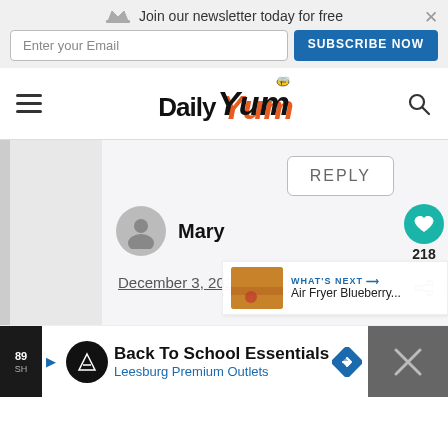Join our newsletter today for free | Enter your Email | SUBSCRIBE NOW
[Figure (logo): Daily Yum website logo with hamburger menu and search icon]
[Figure (screenshot): REPLY button in comment section]
[Figure (infographic): Heart icon with 218 likes and share icon]
Mary
December 3, 2021 at 1
[Figure (infographic): What's Next: Air Fryer Blueberry... widget with thumbnail]
[Figure (infographic): Back To School Essentials - Leesburg Premium Outlets advertisement]